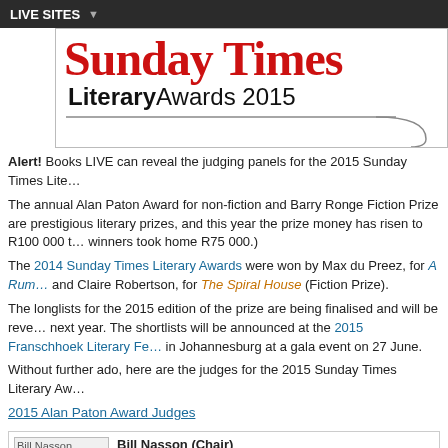LIVE SITES
[Figure (screenshot): Sunday Times Literary Awards 2015 banner logo with red Gothic-style 'Sunday Times' text and 'LiteraryAwards 2015' subtitle, with a speech bubble graphic below.]
Alert! Books LIVE can reveal the judging panels for the 2015 Sunday Times Lite...
The annual Alan Paton Award for non-fiction and Barry Ronge Fiction Prize are prestigious literary prizes, and this year the prize money has risen to R100 000 t... winners took home R75 000.)
The 2014 Sunday Times Literary Awards were won by Max du Preez, for A Rum... and Claire Robertson, for The Spiral House (Fiction Prize).
The longlists for the 2015 edition of the prize are being finalised and will be reve... next year. The shortlists will be announced at the 2015 Franschhoek Literary Fe... in Johannesburg at a gala event on 27 June.
Without further ado, here are the judges for the 2015 Sunday Times Literary Aw...
2015 Alan Paton Award Judges
[Figure (photo): Photo of Bill Nasson]
Bill Nasson (Chair)
Prof Bill Nasson is a Professor of History at the... historian of modern South Africa and the British... and universities in the US, the UK, Ireland and... Journal of African History, he has published a...